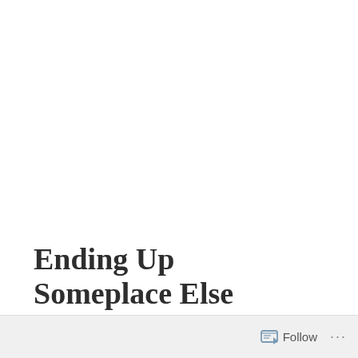Ending Up Someplace Else
Follow ...